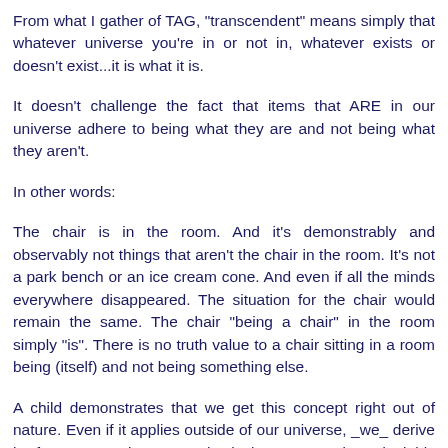From what I gather of TAG, "transcendent" means simply that whatever universe you're in or not in, whatever exists or doesn't exist...it is what it is.
It doesn't challenge the fact that items that ARE in our universe adhere to being what they are and not being what they aren't.
In other words:
The chair is in the room. And it's demonstrably and observably not things that aren't the chair in the room. It's not a park bench or an ice cream cone. And even if all the minds everywhere disappeared. The situation for the chair would remain the same. The chair "being a chair" in the room simply "is". There is no truth value to a chair sitting in a room being (itself) and not being something else.
A child demonstrates that we get this concept right out of nature. Even if it applies outside of our universe, _we_ derive it _from_ our universe as physical property. It is undeniably and observably the property of all existence we